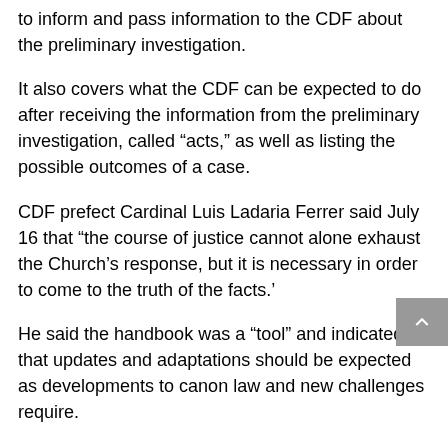to inform and pass information to the CDF about the preliminary investigation.
It also covers what the CDF can be expected to do after receiving the information from the preliminary investigation, called “acts,” as well as listing the possible outcomes of a case.
CDF prefect Cardinal Luis Ladaria Ferrer said July 16 that “the course of justice cannot alone exhaust the Church’s response, but it is necessary in order to come to the truth of the facts.’
He said the handbook was a “tool” and indicated that updates and adaptations should be expected as developments to canon law and new challenges require.
The vademecum makes clear that it does not replace the training and knowledge of canon lawyers and closes by stating that “only a profound knowledge of the law and its aims can render due service to truth and justice, which are especially to be sought in matters of graviora